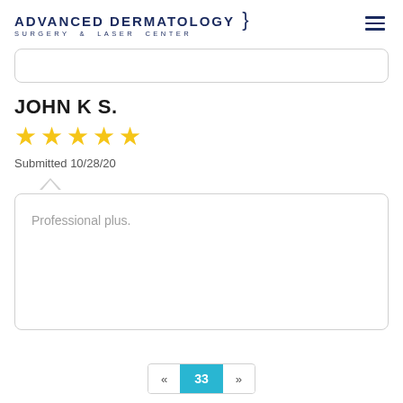ADVANCED DERMATOLOGY SURGERY & LASER CENTER
JOHN K S.
[Figure (other): 5 gold star rating]
Submitted 10/28/20
Professional plus.
« 33 »